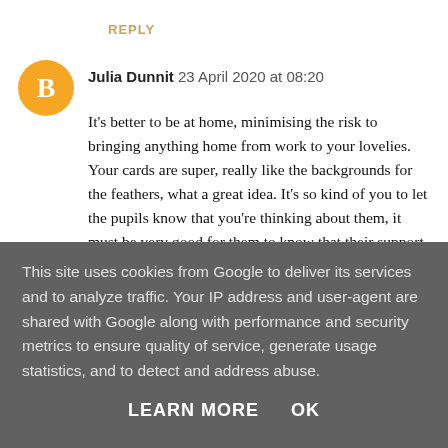REPLY
Julia Dunnit  23 April 2020 at 08:20
It's better to be at home, minimising the risk to bringing anything home from work to your lovelies. Your cards are super, really like the backgrounds for the feathers, what a great idea. It's so kind of you to let the pupils know that you're thinking about them, it must be very good for them to know that their support hasn't just dropped off a cliff because of lockdown, good for you. I hope it's a bit of a win
This site uses cookies from Google to deliver its services and to analyze traffic. Your IP address and user-agent are shared with Google along with performance and security metrics to ensure quality of service, generate usage statistics, and to detect and address abuse.
LEARN MORE    OK